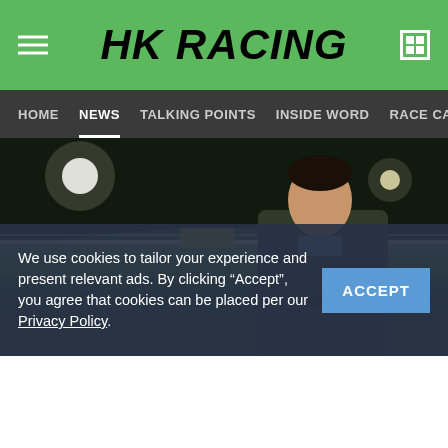HK RACING
HOME | NEWS | TALKING POINTS | INSIDE WORD | RACE CARD | RACE RESULTS
[Figure (photo): Young Asian man standing with arms crossed at a horse racing track at night, green grass and track visible in background with floodlights]
We use cookies to tailor your experience and present relevant ads. By clicking “Accept”, you agree that cookies can be placed per our Privacy Policy.